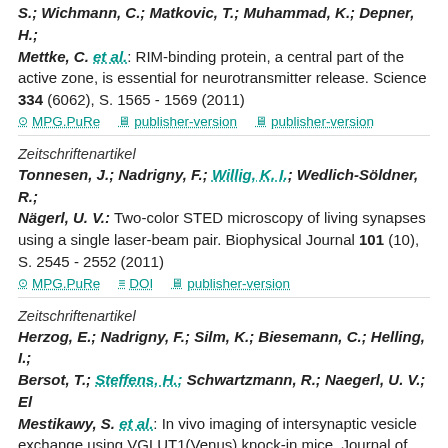S.; Wichmann, C.; Matkovic, T.; Muhammad, K.; Depner, H.; Mettke, C. et al.: RIM-binding protein, a central part of the active zone, is essential for neurotransmitter release. Science 334 (6062), S. 1565 - 1569 (2011)
MPG.PuRe | publisher-version | publisher-version
Zeitschriftenartikel
Tonnesen, J.; Nadrigny, F.; Willig, K. I.; Wedlich-Söldner, R.; Nägerl, U. V.: Two-color STED microscopy of living synapses using a single laser-beam pair. Biophysical Journal 101 (10), S. 2545 - 2552 (2011)
MPG.PuRe | DOI | publisher-version
Zeitschriftenartikel
Herzog, E.; Nadrigny, F.; Silm, K.; Biesemann, C.; Helling, I.; Bersot, T.; Steffens, H.; Schwartzmann, R.; Naegerl, U. V.; El Mestikawy, S. et al.: In vivo imaging of intersynaptic vesicle exchange using VGLUT1(Venus) knock-in mice. Journal of